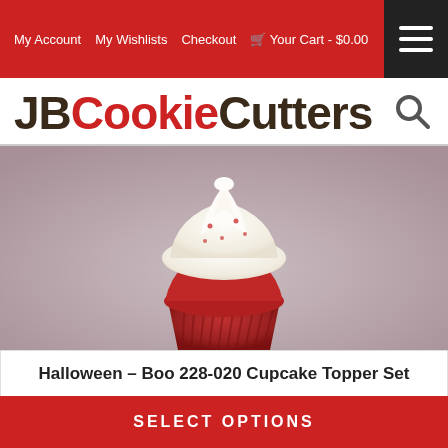My Account  My Wishlists  Checkout  🛒 Your Cart - $0.00
JBCookieCutters
[Figure (photo): Close-up photo of a red velvet cupcake with white cream frosting on a gray/pink background]
Halloween – Boo 228-020 Cupcake Topper Set
NOT RATED
$3.50 – $20.00
SELECT OPTIONS